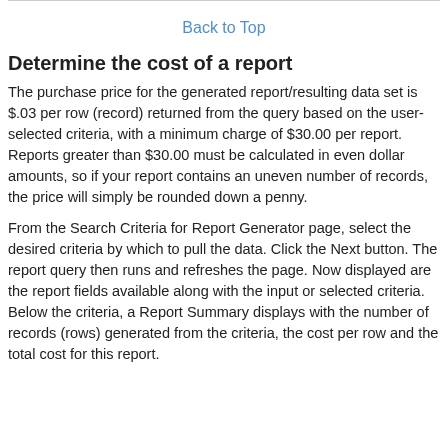Back to Top
Determine the cost of a report
The purchase price for the generated report/resulting data set is $.03 per row (record) returned from the query based on the user-selected criteria, with a minimum charge of $30.00 per report. Reports greater than $30.00 must be calculated in even dollar amounts, so if your report contains an uneven number of records, the price will simply be rounded down a penny.
From the Search Criteria for Report Generator page, select the desired criteria by which to pull the data. Click the Next button. The report query then runs and refreshes the page. Now displayed are the report fields available along with the input or selected criteria. Below the criteria, a Report Summary displays with the number of records (rows) generated from the criteria, the cost per row and the total cost for this report.